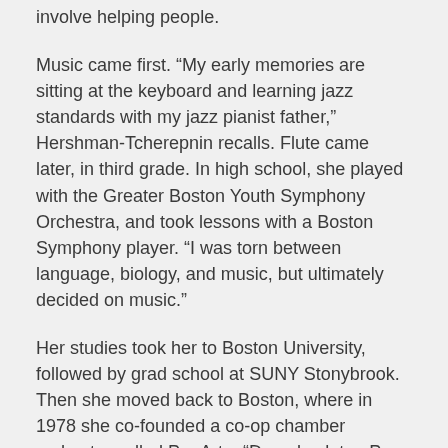involve helping people.
Music came first. “My early memories are sitting at the keyboard and learning jazz standards with my jazz pianist father,” Hershman-Tcherepnin recalls. Flute came later, in third grade. In high school, she played with the Greater Boston Youth Symphony Orchestra, and took lessons with a Boston Symphony player. “I was torn between language, biology, and music, but ultimately decided on music.”
Her studies took her to Boston University, followed by grad school at SUNY Stonybrook. Then she moved back to Boston, where in 1978 she co-founded a co-op chamber orchestra called Pro Arte. “Decades later, Pro Arte is still a co-op, managed administratively and artistically by its musicians,” Hershman-Tcherepnin says with obvious pride. Pro Arte is also one of only four